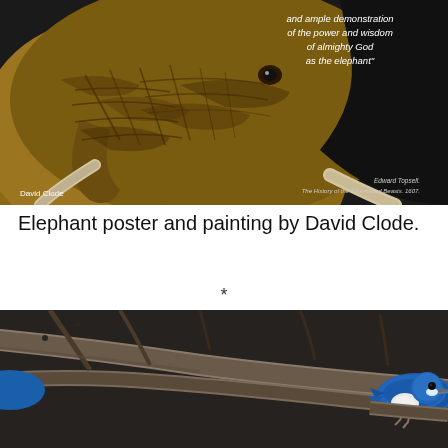[Figure (illustration): Close-up painting of an elephant head with tusks on dark background. Text overlay reads: 'and ample demonstration of the power and wisdom of almighty God as the elephant"'. Attribution: 'David Clode' bottom left, 'Edward Topsell. The History of the Four-footed Beasts. 1607.' bottom right.]
Elephant poster and painting by David Clode.
*
[Figure (photo): Photograph of a blue and white kingfisher bird perched on a branch among twigs, photographed in a dark natural setting.]